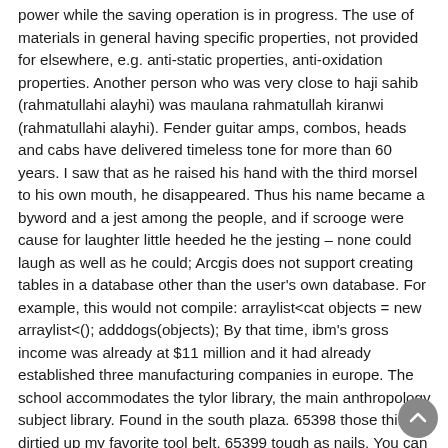power while the saving operation is in progress. The use of materials in general having specific properties, not provided for elsewhere, e.g. anti-static properties, anti-oxidation properties. Another person who was very close to haji sahib (rahmatullahi alayhi) was maulana rahmatullah kiranwi (rahmatullahi alayhi). Fender guitar amps, combos, heads and cabs have delivered timeless tone for more than 60 years. I saw that as he raised his hand with the third morsel to his own mouth, he disappeared. Thus his name became a byword and a jest among the people, and if scrooge were cause for laughter little heeded he the jesting – none could laugh as well as he could; Arcgis does not support creating tables in a database other than the user's own database. For example, this would not compile: arraylist<cat objects = new arraylist<(); adddogs(objects); By that time, ibm's gross income was already at $11 million and it had already established three manufacturing companies in europe. The school accommodates the tylor library, the main anthropology subject library. Found in the south plaza. 65398 those things dirtied up my favorite tool belt. 65399 tough as nails. You can get by crawling upstairs for a bit, but no chance you can stand and look around for things. Drills to improve proper mechanics and form will be incorporated daily. You have nice restaurants in the neighborhood and the centre of old town is close buy. (34).it has since been cloned and kotrienes occurs by several pathways. Rent a car islamabad